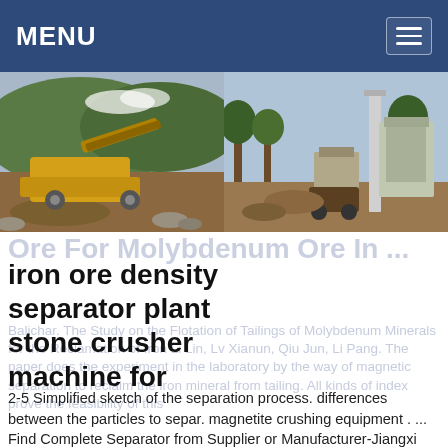MENU
[Figure (photo): Two side-by-side photos of mining/crushing equipment operations: left shows yellow mobile jaw crusher in a quarry with hilly green background; right shows a mineral processing plant structure with machinery and open ground.]
Ore For Molybdenum Ore In ...
iron ore density separator plant stone crusher machine for
2-5 Simplified sketch of the separation process. differences between the particles to separ. magnetite crushing equipment . ... Find Complete Separator from Supplier or Manufacturer-Jiangxi Shicheng Yongsheng Ore Sieving machine. ... 350 450 tph gold ore iron ore magnetic separator plant.